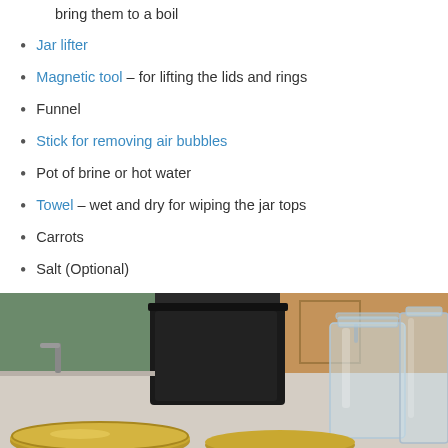bring them to a boil
Jar lifter
Magnetic tool – for lifting the lids and rings
Funnel
Stick for removing air bubbles
Pot of brine or hot water
Towel – wet and dry for wiping the jar tops
Carrots
Salt (Optional)
Prepare the Canning Space
[Figure (photo): Kitchen counter with mason jars and a large black canning pot in the background, with gold jar lids in the foreground]